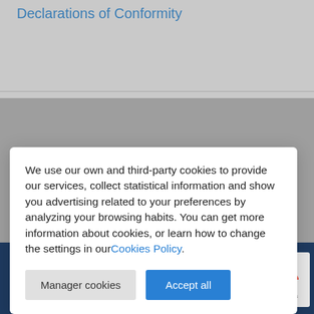Declarations of Conformity
We use our own and third-party cookies to provide our services, collect statistical information and show you advertising related to your preferences by analyzing your browsing habits. You can get more information about cookies, or learn how to change the settings in our Cookies Policy.
Manager cookies
Accept all
© 2022 Teltronic S.A. Unipersonal - sales@teltronic.es - www.teltro...